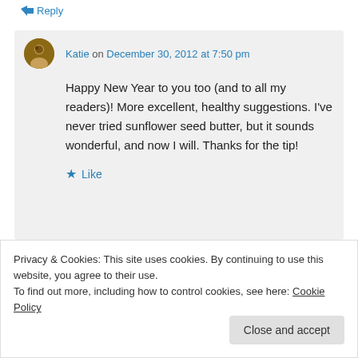↵ Reply
Katie on December 30, 2012 at 7:50 pm
Happy New Year to you too (and to all my readers)! More excellent, healthy suggestions. I've never tried sunflower seed butter, but it sounds wonderful, and now I will. Thanks for the tip!
★ Like
Privacy & Cookies: This site uses cookies. By continuing to use this website, you agree to their use.
To find out more, including how to control cookies, see here: Cookie Policy